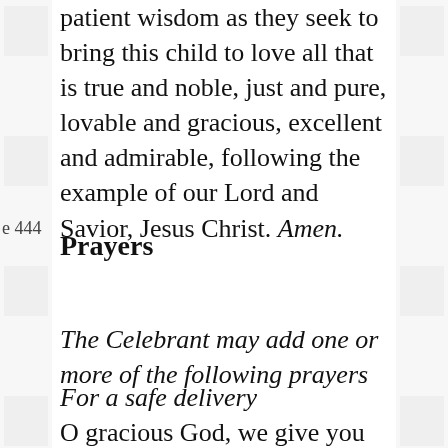patient wisdom as they seek to bring this child to love all that is true and noble, just and pure, lovable and gracious, excellent and admirable, following the example of our Lord and Savior, Jesus Christ. Amen.
e 444
Prayers
The Celebrant may add one or more of the following prayers
For a safe delivery
O gracious God, we give you humble and hearty thanks that you have preserved through the